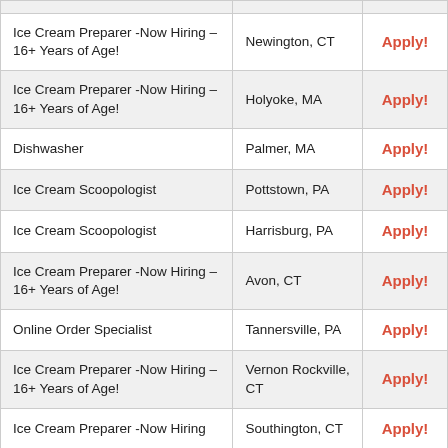| Job Title | Location | Action |
| --- | --- | --- |
| Ice Cream Preparer -Now Hiring – 16+ Years of Age! | Newington, CT | Apply! |
| Ice Cream Preparer -Now Hiring – 16+ Years of Age! | Holyoke, MA | Apply! |
| Dishwasher | Palmer, MA | Apply! |
| Ice Cream Scoopologist | Pottstown, PA | Apply! |
| Ice Cream Scoopologist | Harrisburg, PA | Apply! |
| Ice Cream Preparer -Now Hiring – 16+ Years of Age! | Avon, CT | Apply! |
| Online Order Specialist | Tannersville, PA | Apply! |
| Ice Cream Preparer -Now Hiring – 16+ Years of Age! | Vernon Rockville, CT | Apply! |
| Ice Cream Preparer -Now Hiring ... | Southington, CT | Apply! |